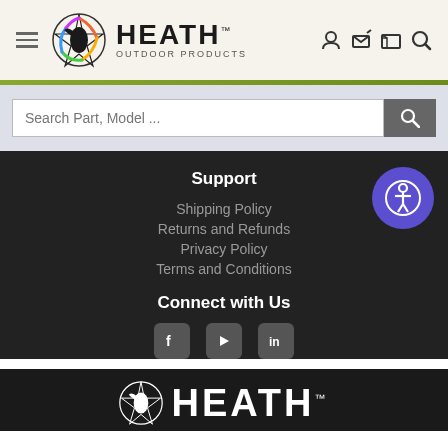[Figure (logo): Heath Outdoor Products logo with colorful bird/star graphic and HEATH OUTDOOR PRODUCTS text]
[Figure (screenshot): Search bar with placeholder text 'Search Part, Model ...' and a gray search button]
Support
Shipping Policy
Returns and Refunds
Privacy Policy
Terms and Conditions
Connect with Us
[Figure (infographic): Social media icons: Facebook, YouTube, LinkedIn]
[Figure (logo): Heath Outdoor Products large white logo at bottom of page]